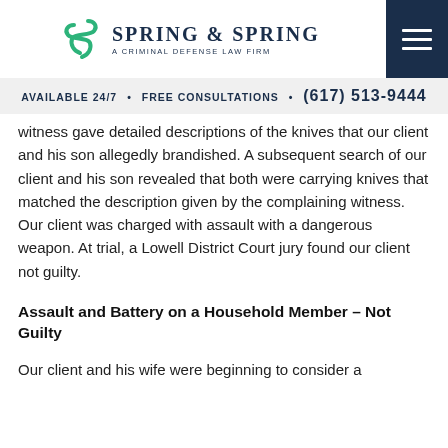[Figure (logo): Spring & Spring — A Criminal Defense Law Firm logo with green stylized SS icon]
AVAILABLE 24/7 • FREE CONSULTATIONS • (617) 513-9444
witness gave detailed descriptions of the knives that our client and his son allegedly brandished. A subsequent search of our client and his son revealed that both were carrying knives that matched the description given by the complaining witness. Our client was charged with assault with a dangerous weapon. At trial, a Lowell District Court jury found our client not guilty.
Assault and Battery on a Household Member – Not Guilty
Our client and his wife were beginning to consider a